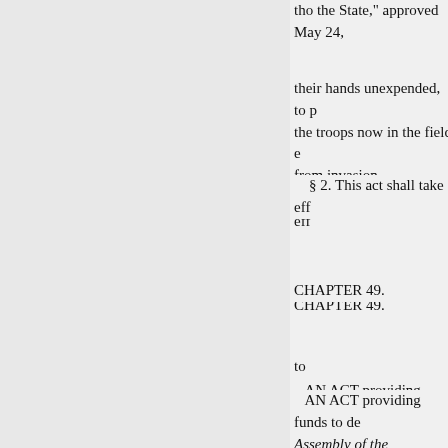tho the State," approved May 24,
their hands unexpended, to pay the troops now in the field e from invasion.
§ 2. This act shall take eff
CHAPTER 49.
to
AN ACT providing funds to de Assembly of the Commonwcalth
91. That in order to defray the of the Sinking Fund State $100,0 the State of Kentucky the sum of the
credit of the Sinking Fund; and f Commonwealth is authorized bo
Commonwealth, payable to the C